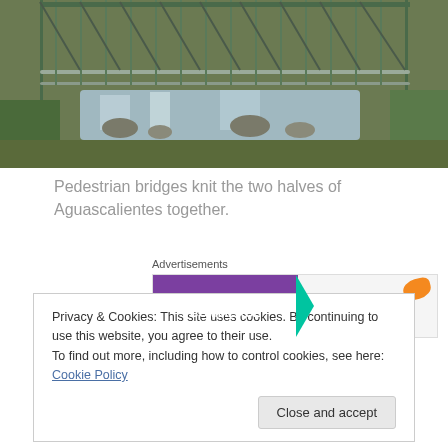[Figure (photo): Pedestrian bridge over a river in Aguascalientes, with metal green railing structure and rocky stream below, surrounded by green vegetation]
Pedestrian bridges knit the two halves of Aguascalientes together.
[Figure (other): WooCommerce advertisement banner: How to start selling subscriptions online]
Privacy & Cookies: This site uses cookies. By continuing to use this website, you agree to their use.
To find out more, including how to control cookies, see here: Cookie Policy
Close and accept